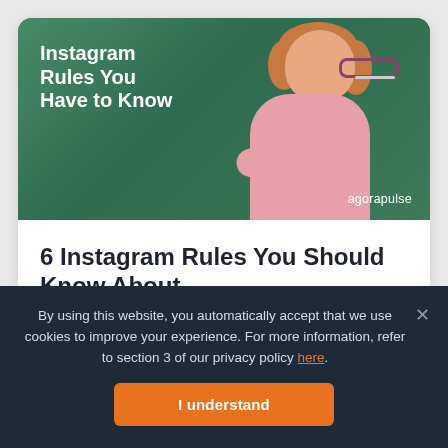[Figure (photo): Thumbnail image of a woman with curly red hair and glasses, wearing a pink shirt, standing in front of a green chalkboard. Bold white text reads 'Instagram Rules You Have to Know'. The agorapulse logo appears in the bottom right.]
6 Instagram Rules You Should Know About
By Charli Day
By using this website, you automatically accept that we use cookies to improve your experience. For more information, refer to section 3 of our privacy policy here.
I understand